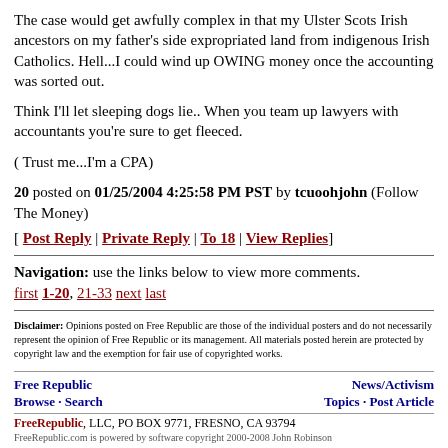The case would get awfully complex in that my Ulster Scots Irish ancestors on my father's side expropriated land from indigenous Irish Catholics. Hell...I could wind up OWING money once the accounting was sorted out.
Think I'll let sleeping dogs lie.. When you team up lawyers with accountants you're sure to get fleeced.
( Trust me...I'm a CPA)
20 posted on 01/25/2004 4:25:58 PM PST by tcuoohjohn (Follow The Money)
[ Post Reply | Private Reply | To 18 | View Replies]
Navigation: use the links below to view more comments.
first 1-20, 21-33 next last
Disclaimer: Opinions posted on Free Republic are those of the individual posters and do not necessarily represent the opinion of Free Republic or its management. All materials posted herein are protected by copyright law and the exemption for fair use of copyrighted works.
Free Republic   Browse · Search   News/Activism   Topics · Post Article
FreeRepublic, LLC, PO BOX 9771, FRESNO, CA 93794
FreeRepublic.com is powered by software copyright 2000-2008 John Robinson